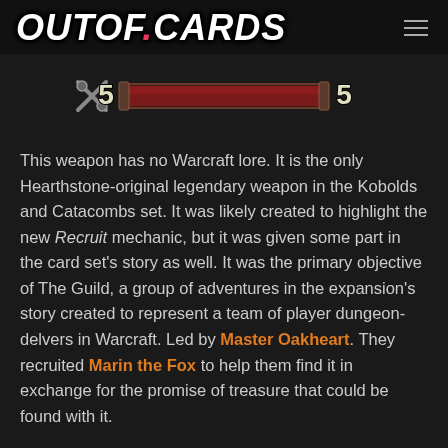OUTOF.CARDS
[Figure (illustration): A decorative Hearthstone-style weapon or card divider graphic with crossed axes and a red health bar, on a dark background.]
This weapon has no Warcraft lore. It is the only Hearthstone-original legendary weapon in the Kobolds and Catacombs set. It was likely created to highlight the new Recruit mechanic, but it was given some part in the card set's story as well. It was the primary objective of The Guild, a group of adventures in the expansion's story created to represent a team of player dungeon-delvers in Warcraft. Led by Master Oakheart. They recruited Marin the Fox to help them find it in exchange for the promise of treasure that could be found with it.